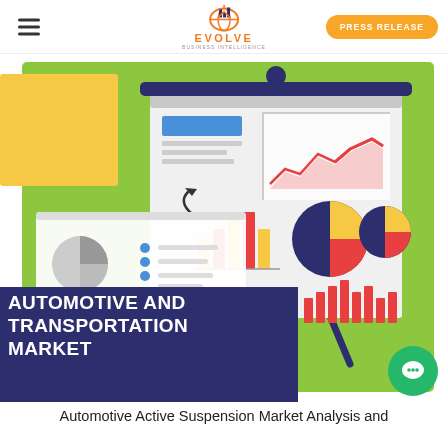EVOLVE BUSINESS INTELLIGENCE
[Figure (infographic): Automotive and Transportation Market report cover image with a presentation board showing various charts (bar charts, pie charts, line charts) on a green background with yellow accent, and a dark navy banner reading AUTOMOTIVE AND TRANSPORTATION MARKET]
Automotive Active Suspension Market Analysis and